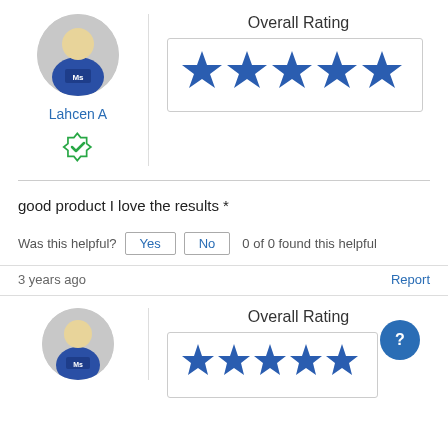[Figure (illustration): User avatar circle with cartoon person in blue jersey labeled 'Ms']
Lahcen A
[Figure (illustration): Green shield with checkmark verified icon]
Overall Rating
[Figure (illustration): 5 filled blue stars in a bordered box representing overall rating]
good product I love the results *
Was this helpful? Yes No 0 of 0 found this helpful
3 years ago
Report
Overall Rating
[Figure (illustration): Partial view of second review with avatar and blue stars overall rating, plus blue question mark circle button]